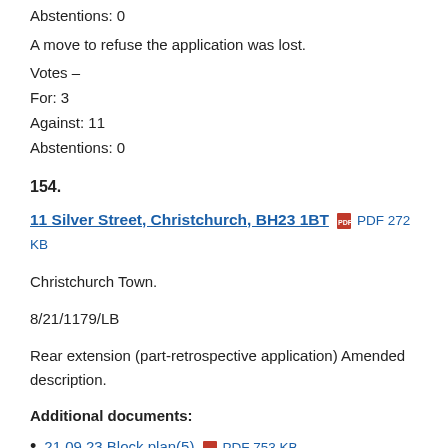Abstentions: 0
A move to refuse the application was lost.
Votes –
For: 3
Against: 11
Abstentions: 0
154.
11 Silver Street, Christchurch, BH23 1BT  PDF 272 KB
Christchurch Town.
8/21/1179/LB
Rear extension (part-retrospective application) Amended description.
Additional documents:
21.09.23 Block plan(5)  PDF 753 KB